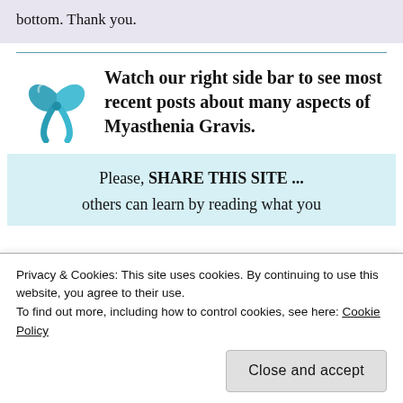bottom. Thank you.
[Figure (illustration): Teal/turquoise awareness ribbon icon for Myasthenia Gravis]
Watch our right side bar to see most recent posts about many aspects of Myasthenia Gravis.
Please, SHARE THIS SITE ... others can learn by reading what you
Privacy & Cookies: This site uses cookies. By continuing to use this website, you agree to their use. To find out more, including how to control cookies, see here: Cookie Policy
Close and accept